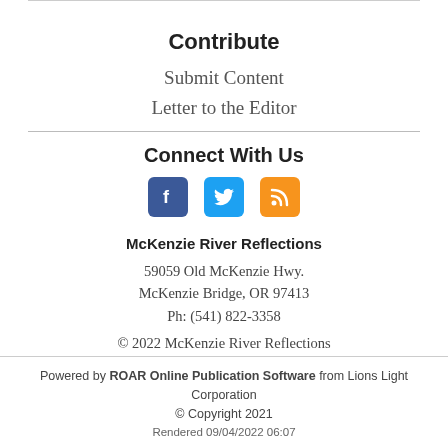Contribute
Submit Content
Letter to the Editor
Connect With Us
[Figure (infographic): Social media icons: Facebook (blue), Twitter (light blue), RSS feed (orange)]
McKenzie River Reflections
59059 Old McKenzie Hwy.
McKenzie Bridge, OR 97413
Ph: (541) 822-3358
© 2022 McKenzie River Reflections
Powered by ROAR Online Publication Software from Lions Light Corporation
© Copyright 2021
Rendered 09/04/2022 06:07